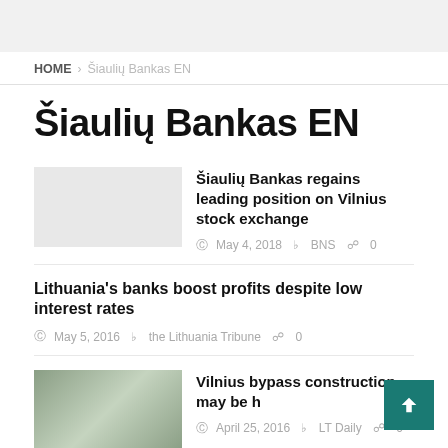HOME > Šiaulių Bankas EN
Šiaulių Bankas EN
Šiaulių Bankas regains leading position on Vilnius stock exchange
May 4, 2018  BNS  0
Lithuania's banks boost profits despite low interest rates
May 5, 2016  the Lithuania Tribune  0
Vilnius bypass construction may be h
April 25, 2016  LT Daily  0